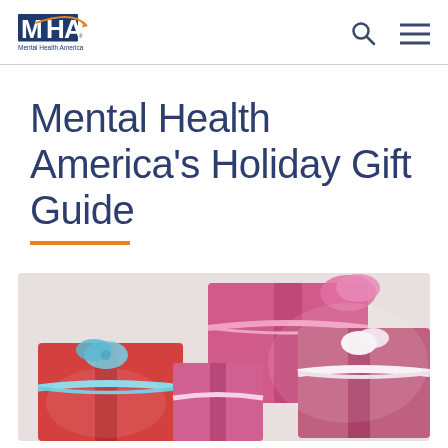Mental Health America logo with search and menu icons
Mental Health America’s Holiday Gift Guide
[Figure (photo): Colorful wrapped gift boxes with ribbons on a light background. Red, pink, and purple gift boxes with white and blue ribbons in a festive holiday arrangement.]